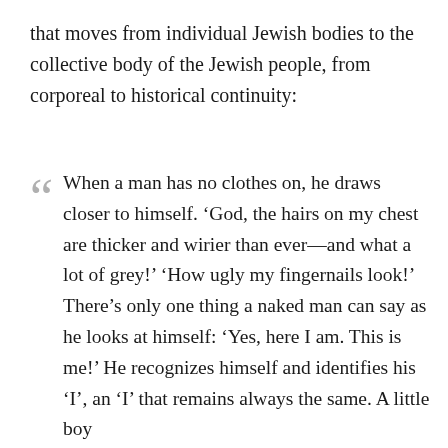that moves from individual Jewish bodies to the collective body of the Jewish people, from corporeal to historical continuity:
When a man has no clothes on, he draws closer to himself. ‘God, the hairs on my chest are thicker and wirier than ever—and what a lot of grey!’ ‘How ugly my fingernails look!’ There’s only one thing a naked man can say as he looks at himself: ‘Yes, here I am. This is me!’ He recognizes himself and identifies his ‘I’, an ‘I’ that remains always the same. A little boy